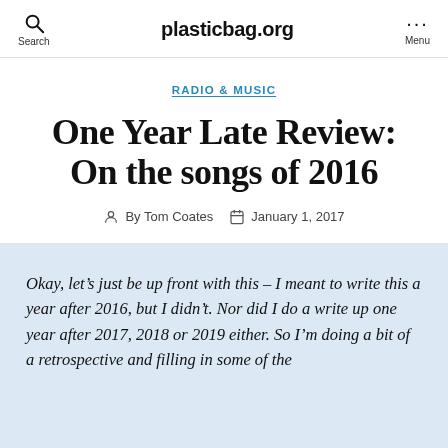plasticbag.org
RADIO & MUSIC
One Year Late Review: On the songs of 2016
By Tom Coates   January 1, 2017
Okay, let’s just be up front with this – I meant to write this a year after 2016, but I didn’t. Nor did I do a write up one year after 2017, 2018 or 2019 either. So I’m doing a bit of a retrospective and filling in some of the